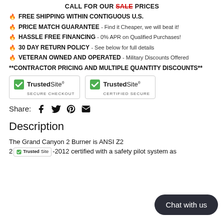CALL FOR OUR SALE PRICES
FREE SHIPPING WITHIN CONTIGUOUS U.S.
PRICE MATCH GUARANTEE - Find it Cheaper, we will beat it!
HASSLE FREE FINANCING - 0% APR on Qualified Purchases!
30 DAY RETURN POLICY - See below for full details
VETERAN OWNED AND OPERATED - Military Discounts Offered
**CONTRACTOR PRICING AND MULTIPLE QUANTITY DISCOUNTS**
[Figure (logo): Two TrustedSite badges: 'Secure Checkout' and 'Certified Secure']
Share: [Facebook] [Twitter] [Pinterest] [Email]
Description
The Grand Canyon 2 Burner is ANSI Z2... 20... -2012 certified with a safety pilot system as